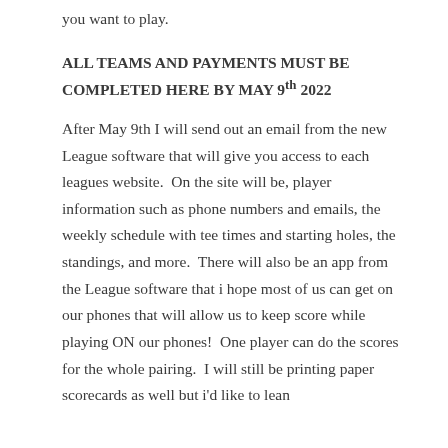you want to play.
ALL TEAMS AND PAYMENTS MUST BE COMPLETED HERE BY MAY 9th 2022
After May 9th I will send out an email from the new League software that will give you access to each leagues website.  On the site will be, player information such as phone numbers and emails, the weekly schedule with tee times and starting holes, the standings, and more.  There will also be an app from the League software that i hope most of us can get on our phones that will allow us to keep score while playing ON our phones!  One player can do the scores for the whole pairing.  I will still be printing paper scorecards as well but i'd like to lean